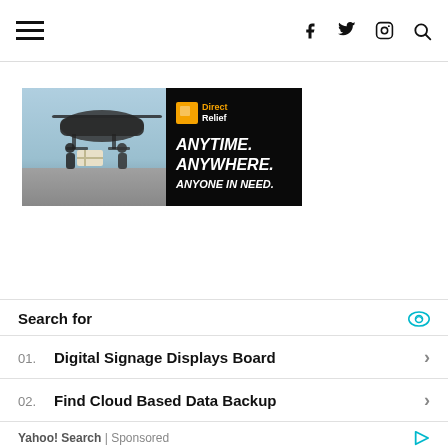Navigation header with hamburger menu and social icons (Facebook, Twitter, Instagram, Search)
[Figure (illustration): Direct Relief advertisement banner: left side shows military helicopter loading scene with cargo boxes; right side shows black background with orange Direct Relief logo and text 'ANYTIME. ANYWHERE. ANYONE IN NEED.']
Search for
01. Digital Signage Displays Board
02. Find Cloud Based Data Backup
Yahoo! Search | Sponsored